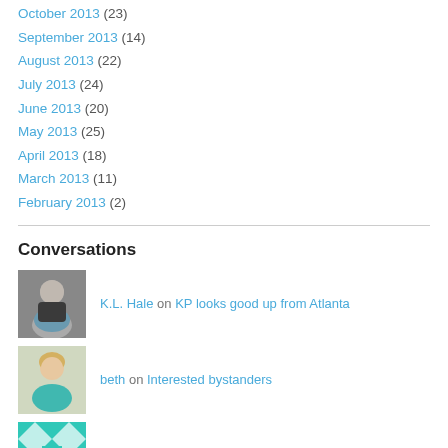October 2013 (23)
September 2013 (14)
August 2013 (22)
July 2013 (24)
June 2013 (20)
May 2013 (25)
April 2013 (18)
March 2013 (11)
February 2013 (2)
Conversations
K.L. Hale on KP looks good up from Atlanta
beth on Interested bystanders
uncledandzadie on Interested bystanders